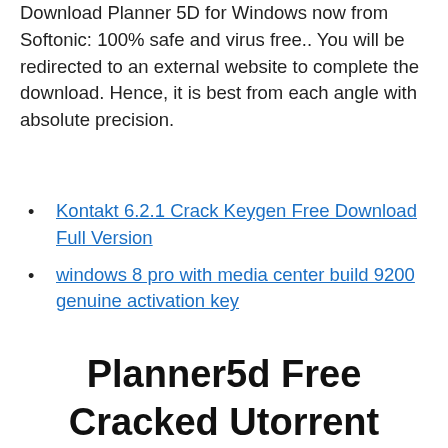Download Planner 5D for Windows now from Softonic: 100% safe and virus free.. You will be redirected to an external website to complete the download. Hence, it is best from each angle with absolute precision.
Kontakt 6.2.1 Crack Keygen Free Download Full Version
windows 8 pro with media center build 9200 genuine activation key
Planner5d Free Cracked Utorrent